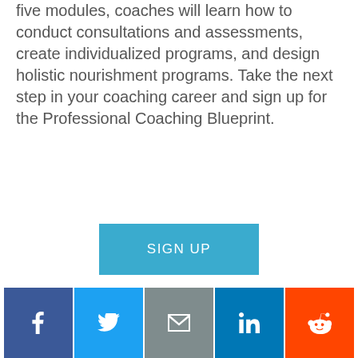five modules, coaches will learn how to conduct consultations and assessments, create individualized programs, and design holistic nourishment programs. Take the next step in your coaching career and sign up for the Professional Coaching Blueprint.
[Figure (other): Blue SIGN UP button]
TOP BLOG POSTS
Finding Balance Through Systems - Carl Hardwick
Social share bar: Facebook, Twitter, Email, LinkedIn, Reddit